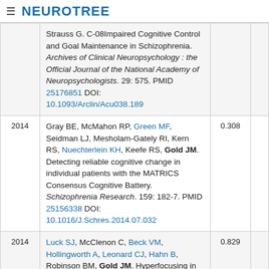NEUROTREE
| Year | Reference | Score |  |
| --- | --- | --- | --- |
|  | Strauss G. C-08Impaired Cognitive Control and Goal Maintenance in Schizophrenia. Archives of Clinical Neuropsychology : the Official Journal of the National Academy of Neuropsychologists. 29: 575. PMID 25176851 DOI: 10.1093/Arclin/Acu038.189 |  |  |
| 2014 | Gray BE, McMahon RP, Green MF, Seidman LJ, Mesholam-Gately RI, Kern RS, Nuechterlein KH, Keefe RS, Gold JM. Detecting reliable cognitive change in individual patients with the MATRICS Consensus Cognitive Battery. Schizophrenia Research. 159: 182-7. PMID 25156338 DOI: 10.1016/J.Schres.2014.07.032 | 0.308 |  |
| 2014 | Luck SJ, McClenon C, Beck VM, Hollingworth A, Leonard CJ, Hahn B, Robinson BM, Gold JM. Hyperfocusing in schizophrenia: Evidence from interactions between working memory and eye movements. Journal of Abnormal Psychology. 123: 783-95. PMID 25080655 DOI: | 0.829 |  |